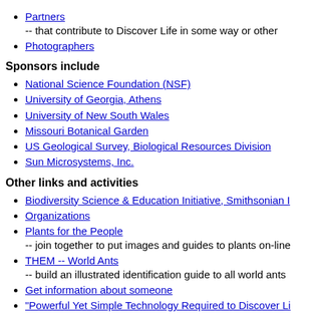Partners -- that contribute to Discover Life in some way or other
Photographers
Sponsors include
National Science Foundation (NSF)
University of Georgia, Athens
University of New South Wales
Missouri Botanical Garden
US Geological Survey, Biological Resources Division
Sun Microsystems, Inc.
Other links and activities
Biodiversity Science & Education Initiative, Smithsonian I
Organizations
Plants for the People -- join together to put images and guides to plants on-line
THEM -- World Ants -- build an illustrated identification guide to all world ants
Get information about someone
"Powerful Yet Simple Technology Required to Discover Li -- Sun Microsystems
Volunteers
Endorsements